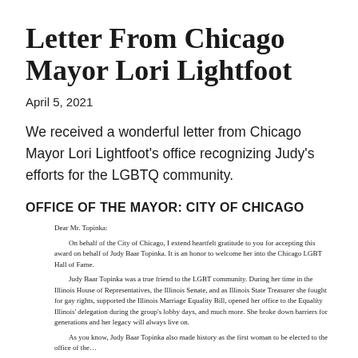Letter From Chicago Mayor Lori Lightfoot
April 5, 2021
We received a wonderful letter from Chicago Mayor Lori Lightfoot's office recognizing Judy's efforts for the LGBTQ community.
OFFICE OF THE MAYOR: CITY OF CHICAGO
Dear Mr. Topinka:

On behalf of the City of Chicago, I extend heartfelt gratitude to you for accepting this award on behalf of Judy Baar Topinka. It is an honor to welcome her into the Chicago LGBT Hall of Fame.

Judy Baar Topinka was a true friend to the LGBT community. During her time in the Illinois House of Representatives, the Illinois Senate, and as Illinois State Treasurer she fought for gay rights, supported the Illinois Marriage Equality Bill, opened her office to the Equality Illinois' delegation during the group's lobby days, and much more. She broke down barriers for generations and her legacy will always live on.